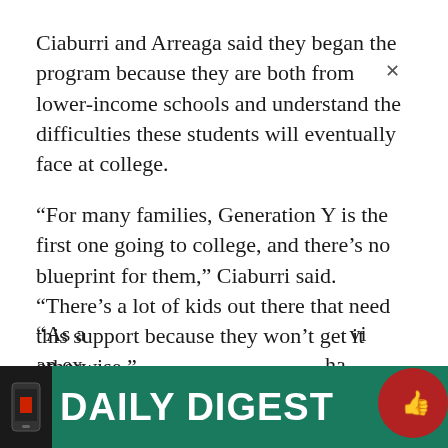Ciaburri and Arreaga said they began the program because they are both from lower-income schools and understand the difficulties these students will eventually face at college.
“For many families, Generation Y is the first one going to college, and there’s no blueprint for them,” Ciaburri said. “There’s a lot of kids out there that need this support because they won’t get it otherwise.”
Sociology freshman Juan Caballero said he signed up for the program because he wants to provide a perspective on the college experience and become a mentor for other minority students.
“As a… an ex…
[Figure (other): Daily Digest banner overlay at the bottom of the page with a dark phone icon on left, green background, white bold text reading DAILY DIGEST, a close X button, and a red thumbs-up circle icon on the right.]